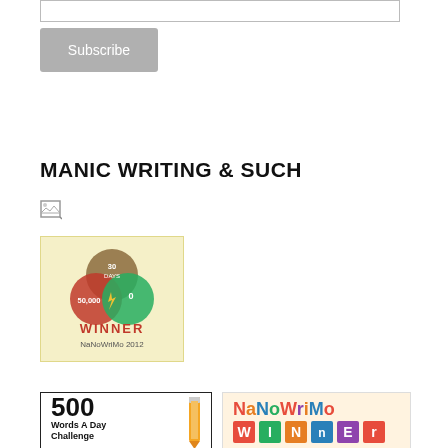[Figure (other): Email subscribe input field (text box)]
[Figure (other): Subscribe button, gray background]
MANIC WRITING & SUCH
[Figure (other): Broken image icon (small)]
[Figure (illustration): NaNoWriMo 2012 Winner badge on pale yellow background — Venn diagram with 30 DAYS, 50,000 words, 0 commas circles and WINNER NaNoWriMo 2012 text]
[Figure (illustration): 500 Words A Day Challenge badge with pencil illustration]
[Figure (illustration): NaNoWriMo WINNER badge with colorful block letters]